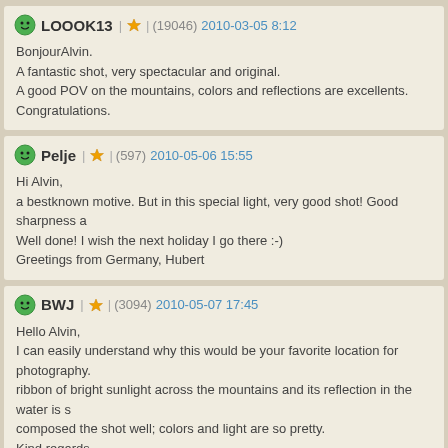LOOOK13 | ★ | (19046) 2010-03-05 8:12
BonjourAlvin.
A fantastic shot, very spectacular and original.
A good POV on the mountains, colors and reflections are excellents.
Congratulations.
Pelje | ★ | (597) 2010-05-06 15:55
Hi Alvin,
a bestknown motive. But in this special light, very good shot! Good sharpness a
Well done! I wish the next holiday I go there :-)
Greetings from Germany, Hubert
BWJ | ★ | (3094) 2010-05-07 17:45
Hello Alvin,
I can easily understand why this would be your favorite location for photography.
ribbon of bright sunlight across the mountains and its reflection in the water is s
composed the shot well; colors and light are so pretty.
Kind regards,
Betty